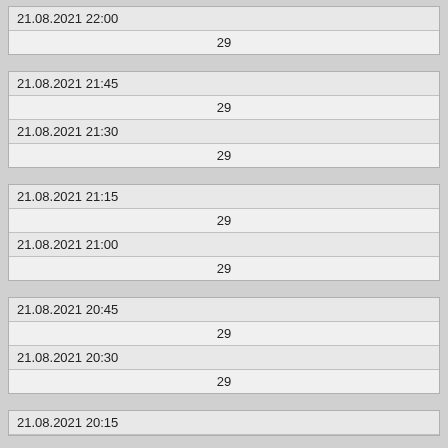| 21.08.2021 22:00 |
| --- |
| 29 |
| 21.08.2021 21:45 |
| --- |
| 29 |
| 21.08.2021 21:30 |
| --- |
| 29 |
| 21.08.2021 21:15 |
| --- |
| 29 |
| 21.08.2021 21:00 |
| --- |
| 29 |
| 21.08.2021 20:45 |
| --- |
| 29 |
| 21.08.2021 20:30 |
| --- |
| 29 |
| 21.08.2021 20:15 |
| --- |